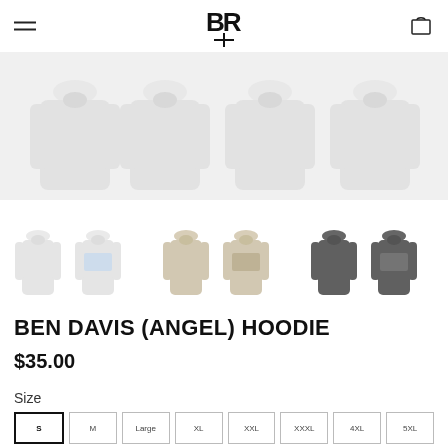[Figure (logo): BR logo mark in top center of header navigation]
[Figure (photo): Multiple white hoodies displayed across the top product image area]
[Figure (photo): Six thumbnail images of hoodies in three color variants: white, cream/beige, and dark grey, shown front and back]
BEN DAVIS (ANGEL) HOODIE
$35.00
Size
| S | M | Large | XL | XXL | XXXL | 4XL | 5XL |
| --- | --- | --- | --- | --- | --- | --- | --- |